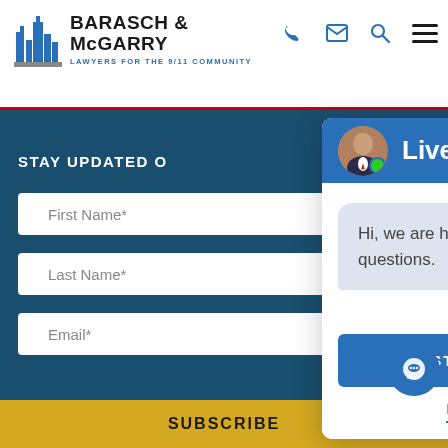[Figure (screenshot): Barasch & McGarry law firm website screenshot showing header with logo, navigation icons, a dark teal background section with stay updated form fields, and a live chat popup widget overlay]
BARASCH & McGARRY
LAWYERS FOR THE 9/11 COMMUNITY
STAY UPDATED O
First Name*
Last Name*
Email*
Live Chat
Hi, we are here to help if you have questions.
START A CHAT
NO THANKS
SUBSCRIBE